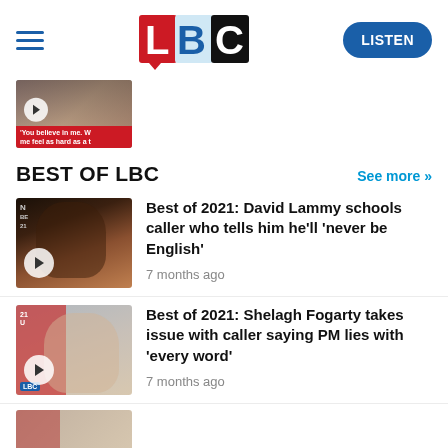[Figure (logo): LBC logo with hamburger menu and LISTEN button in header]
[Figure (photo): Small video thumbnail with play button and red caption bar reading 'You believe in me. W me feel as hard as a t']
BEST OF LBC
See more >>
[Figure (photo): Thumbnail of David Lammy wearing headphones with play button overlay]
Best of 2021: David Lammy schools caller who tells him he'll 'never be English'
7 months ago
[Figure (photo): Thumbnail of Shelagh Fogarty with microphone and play button overlay]
Best of 2021: Shelagh Fogarty takes issue with caller saying PM lies with 'every word'
7 months ago
[Figure (photo): Partial thumbnail at bottom of page]